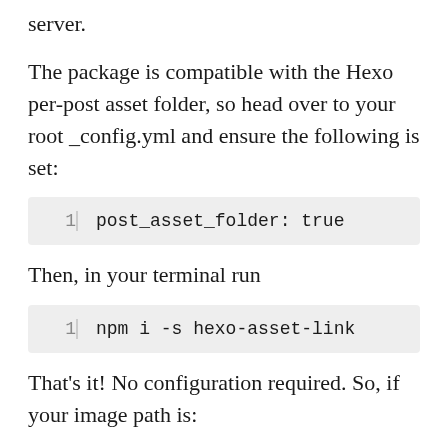server.
The package is compatible with the Hexo per-post asset folder, so head over to your root _config.yml and ensure the following is set:
post_asset_folder: true
Then, in your terminal run
npm i -s hexo-asset-link
That’s it! No configuration required. So, if your image path is: